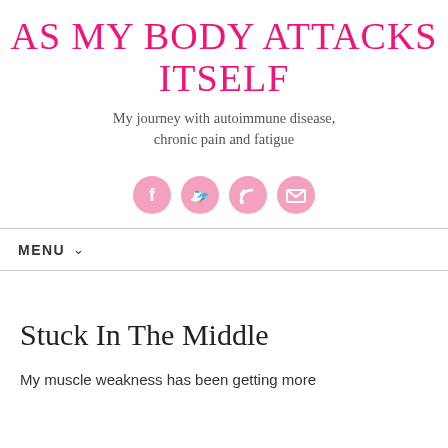AS MY BODY ATTACKS ITSELF
My journey with autoimmune disease, chronic pain and fatigue
[Figure (infographic): Four pink circular social media icons: Facebook, Twitter, RSS feed, and Email]
MENU
Stuck In The Middle
My muscle weakness has been getting more